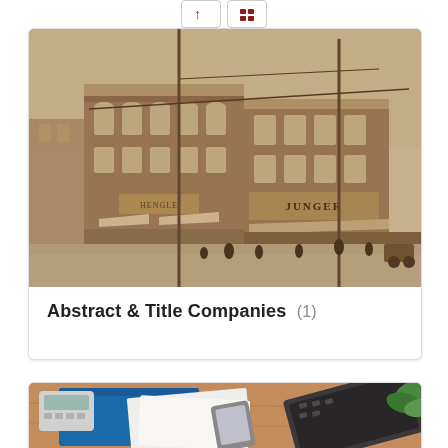[Figure (photo): Navigation buttons at top, showing arrow/list view toggle icons with red symbols]
[Figure (photo): Sepia-toned historic photograph of a multi-story brick corner building on a city street, with horse-drawn vehicles and pedestrians visible. Storefront signs partially visible including what appears to be 'JUNGER'.]
Abstract & Title Companies (1)
[Figure (photo): Partial view of a modern office scene showing a laptop computer, calculator, blue folder, smartphone, and plant on a wooden desk surface.]